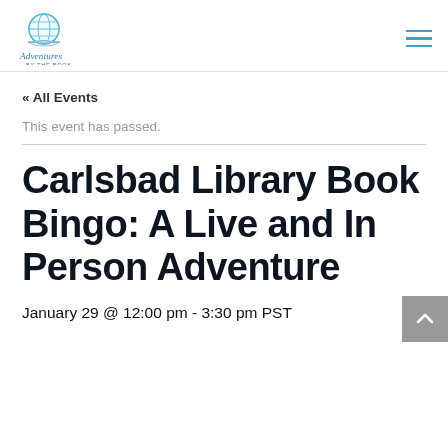Adventures by the Book (logo) — navigation hamburger menu
« All Events
This event has passed.
Carlsbad Library Book Bingo: A Live and In Person Adventure
January 29 @ 12:00 pm - 3:30 pm PST